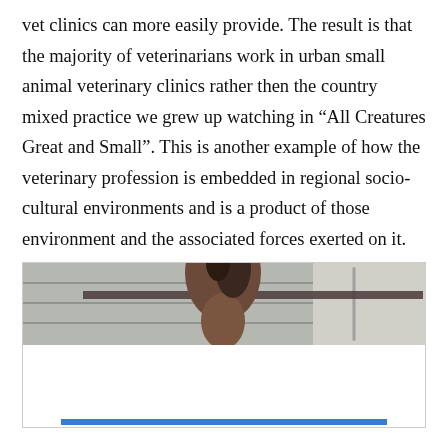vet clinics can more easily provide. The result is that the majority of veterinarians work in urban small animal veterinary clinics rather then the country mixed practice we grew up watching in “All Creatures Great and Small”. This is another example of how the veterinary profession is embedded in regional socio-cultural environments and is a product of those environment and the associated forces exerted on it.
[Figure (photo): Partial view of a horse or animal near a wooden fence/barn structure, partially obscured by a cookie consent banner overlay.]
Privacy & Cookies: This site uses cookies. By continuing to use this website, you agree to their use.
To find out more, including how to control cookies, see here: Cookie Policy
Close and accept